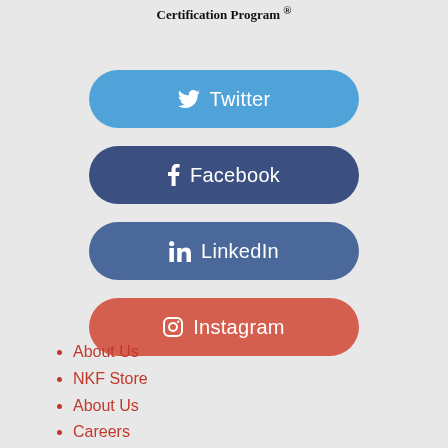Certification Program ®
[Figure (infographic): Four social media share buttons: Twitter (blue rounded), Facebook (dark blue rounded), LinkedIn (steel blue rounded), Instagram (red-orange rounded)]
About Us
NKF Store
About Us
Careers